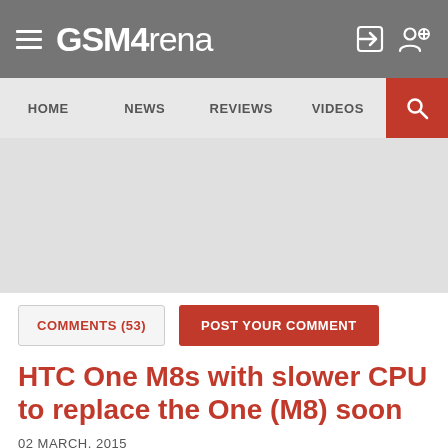GSMArena
HOME  NEWS  REVIEWS  VIDEOS
[Figure (other): Advertisement / banner placeholder area (gray background)]
COMMENTS (53)  POST YOUR COMMENT
HTC One M8s with slower CPU to replace the One (M8) soon
02 MARCH, 2015
The phone will be virtually identical to the One (M8) we already know, save for the different chipset.